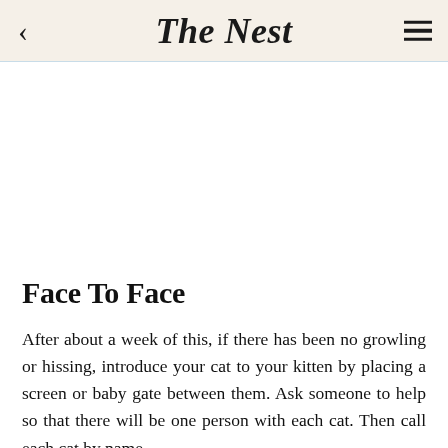The Nest
Face To Face
After about a week of this, if there has been no growling or hissing, introduce your cat to your kitten by placing a screen or baby gate between them. Ask someone to help so that there will be one person with each cat. Then call each cat by name